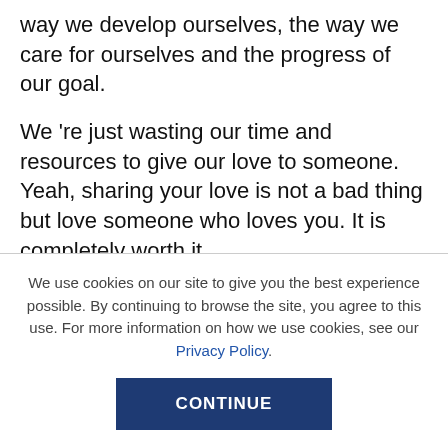way we develop ourselves, the way we care for ourselves and the progress of our goal.
We 're just wasting our time and resources to give our love to someone. Yeah, sharing your love is not a bad thing but love someone who loves you. It is completely worth it.
By the end of your journey, you are everything you've done. Self-love reveals what attributes we truly deserve in our lives.
We use cookies on our site to give you the best experience possible. By continuing to browse the site, you agree to this use. For more information on how we use cookies, see our Privacy Policy.
CONTINUE